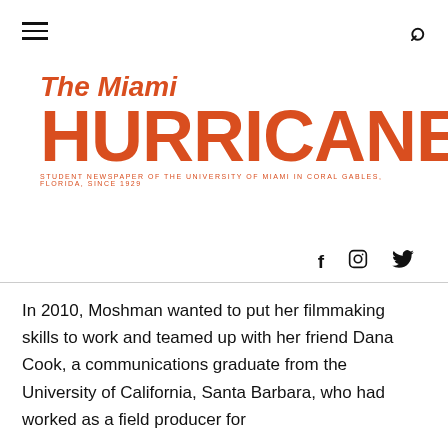The Miami Hurricane — Student Newspaper of the University of Miami in Coral Gables, Florida, Since 1929
[Figure (logo): The Miami Hurricane newspaper logo in orange with tagline 'Student Newspaper of the University of Miami in Coral Gables, Florida, Since 1929']
In 2010, Moshman wanted to put her filmmaking skills to work and teamed up with her friend Dana Cook, a communications graduate from the University of California, Santa Barbara, who had worked as a field producer for